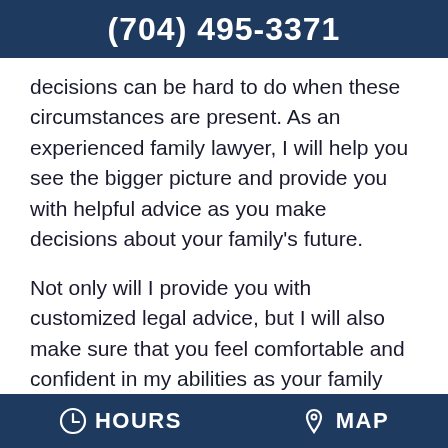(704) 495-3371
decisions can be hard to do when these circumstances are present. As an experienced family lawyer, I will help you see the bigger picture and provide you with helpful advice as you make decisions about your family's future.
Not only will I provide you with customized legal advice, but I will also make sure that you feel comfortable and confident in my abilities as your family lawyer. Throughout the duration of your case, I will always be here for you to answer your questions and listen to your concerns.
HOURS   MAP